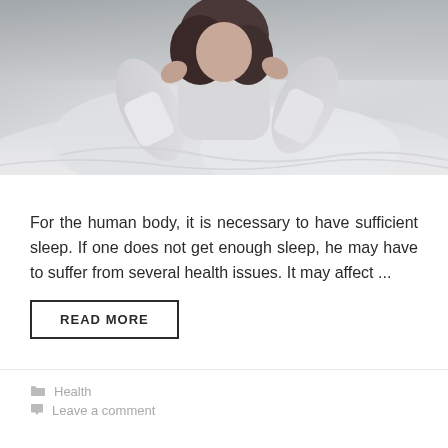[Figure (photo): Person in white clothing sitting on a bed with white sheets, hands near face, viewed from above/front, grey tones]
For the human body, it is necessary to have sufficient sleep. If one does not get enough sleep, he may have to suffer from several health issues. It may affect ...
READ MORE
Health
Leave a comment